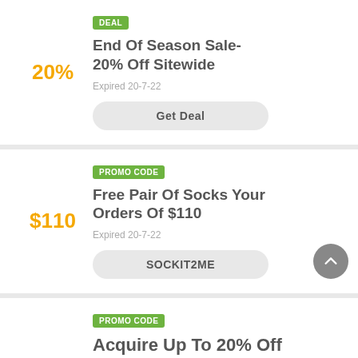20%
End Of Season Sale- 20% Off Sitewide
Expired 20-7-22
Get Deal
$110
Free Pair Of Socks Your Orders Of $110
Expired 20-7-22
SOCKIT2ME
Acquire Up To 20% Off